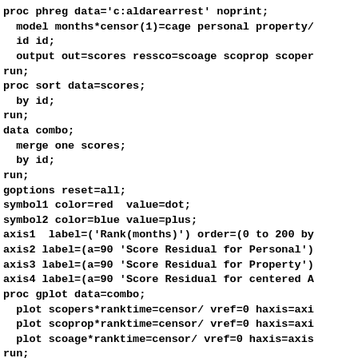proc phreg data='c:aldarearrest' noprint;
  model months*censor(1)=cage personal property/
  id id;
  output out=scores ressco=scoage scoprop scoper
run;
proc sort data=scores;
  by id;
run;
data combo;
  merge one scores;
  by id;
run;
goptions reset=all;
symbol1 color=red  value=dot;
symbol2 color=blue value=plus;
axis1  label=('Rank(months)') order=(0 to 200 by
axis2 label=(a=90 'Score Residual for Personal')
axis3 label=(a=90 'Score Residual for Property')
axis4 label=(a=90 'Score Residual for centered A
proc gplot data=combo;
  plot scopers*ranktime=censor/ vref=0 haxis=axi
  plot scoprop*ranktime=censor/ vref=0 haxis=axi
  plot scoage*ranktime=censor/ vref=0 haxis=axis
run;
quit;